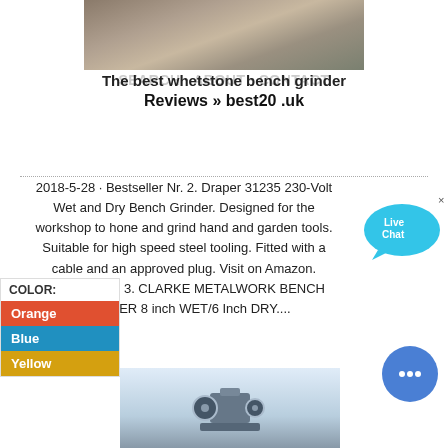[Figure (photo): Construction site photo at the top of the page]
The best whetstone bench grinder
Reviews » best20 .uk
2018-5-28 · Bestseller Nr. 2. Draper 31235 230-Volt Wet and Dry Bench Grinder. Designed for the workshop to hone and grind hand and garden tools. Suitable for high speed steel tooling. Fitted with a cable and an approved plug. Visit on Amazon. Bestseller Nr. 3. CLARKE METALWORK BENCH GRINDER 8 inch WET/6 Inch DRY....
COLOR:
Orange
Blue
Yellow
[Figure (photo): Bench grinder product photo at the bottom of the page]